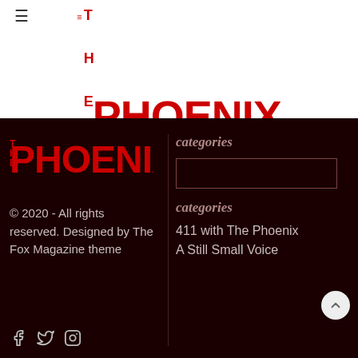THE PHOENIX
© 2020 - All rights reserved. Designed by The Fox Magazine theme
categories
categories
411 with The Phoenix
A Still Small Voice